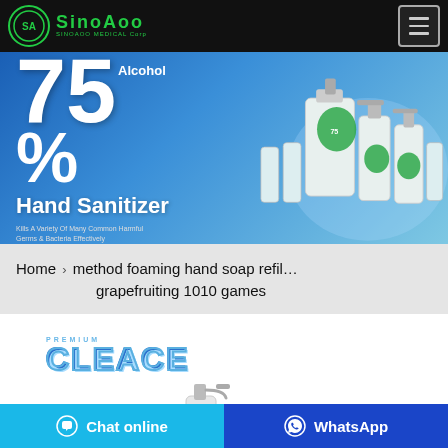[Figure (logo): SinoAoo Medical Corp logo — green circular badge with 'SA' initials, green stylized text 'SinoAoo' beside it, 'SINOAOO MEDICAL Corp' subtitle]
[Figure (photo): Banner advertising 75% Alcohol Hand Sanitizer. Large white text '75% Alcohol Hand Sanitizer' on blue gradient background. Text: 'Kills A Variety Of Many Common Harmful Germs & Bacteria Effectively'. Right side shows product bottles.]
Home > method foaming hand soap refil... grapefruiting 1010 games
[Figure (logo): Cleace brand logo — blue stylized lettering with 'PREMIUM CLEACE' text and a pump dispenser bottle partially visible below]
Chat online
WhatsApp